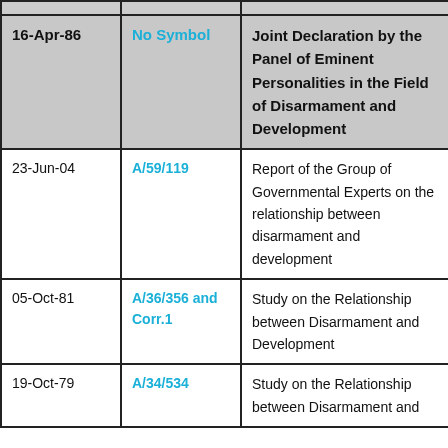| Date | Symbol | Title |
| --- | --- | --- |
| 16-Apr-86 | No Symbol | Joint Declaration by the Panel of Eminent Personalities in the Field of Disarmament and Development |
| 23-Jun-04 | A/59/119 | Report of the Group of Governmental Experts on the relationship between disarmament and development |
| 05-Oct-81 | A/36/356 and Corr.1 | Study on the Relationship between Disarmament and Development |
| 19-Oct-79 | A/34/534 | Study on the Relationship between Disarmament and |